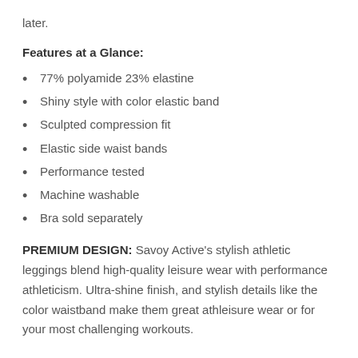later.
Features at a Glance:
77% polyamide  23% elastine
Shiny style with color elastic band
Sculpted compression fit
Elastic side waist bands
Performance tested
Machine washable
Bra sold separately
PREMIUM DESIGN: Savoy Active's stylish athletic leggings blend high-quality leisure wear with performance athleticism. Ultra-shine finish, and stylish details like the color waistband make them great athleisure wear or for your most challenging workouts.